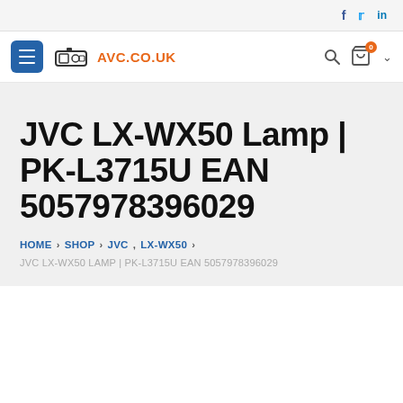f  t  in
[Figure (logo): AVC.CO.UK projector logo with hamburger menu button and navigation icons]
JVC LX-WX50 Lamp | PK-L3715U EAN 5057978396029
HOME > SHOP > JVC, LX-WX50 >
JVC LX-WX50 LAMP | PK-L3715U EAN 5057978396029